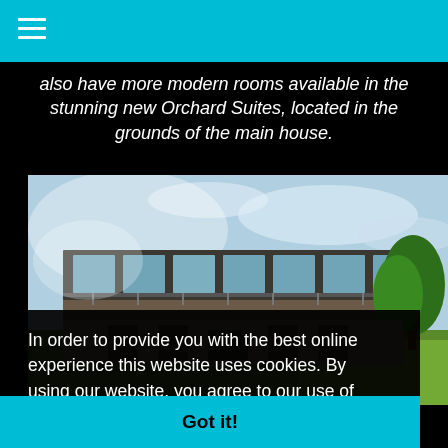Navigation menu
also have more modern rooms available in the stunning new Orchard Suites, located in the grounds of the main house.
[Figure (photo): Exterior photo of a modern glass-fronted building (Orchard Suites) with green trees and grass in the background under a blue sky.]
In order to provide you with the best online experience this website uses cookies. By using our website, you agree to our use of cookies. Learn more
Got it!
Monday: The first British landings in Normandy were at the...